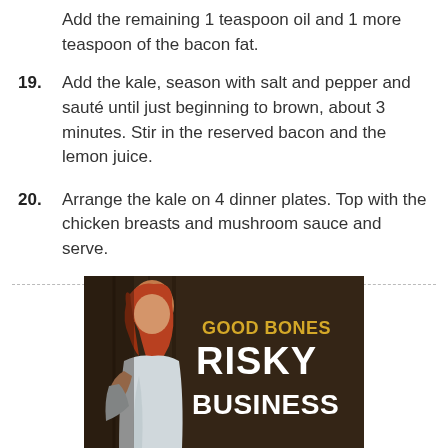Add the remaining 1 teaspoon oil and 1 more teaspoon of the bacon fat.
19. Add the kale, season with salt and pepper and sauté until just beginning to brown, about 3 minutes. Stir in the reserved bacon and the lemon juice.
20. Arrange the kale on 4 dinner plates. Top with the chicken breasts and mushroom sauce and serve.
[Figure (photo): Advertisement image for 'Good Bones Risky Business' showing a woman with red hair looking upward, with bold text overlay reading GOOD BONES RISKY BUSINESS on a dark rustic background.]